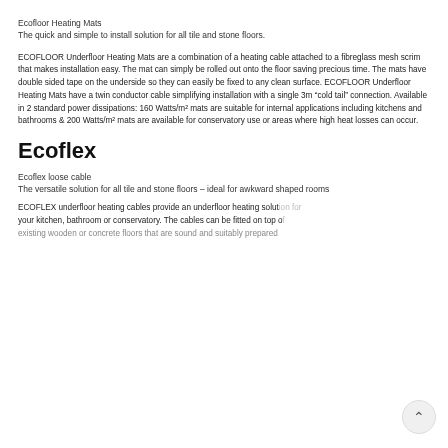Ecofloor Heating Mats
The quick and simple to install solution for all tile and stone floors.
ECOFLOOR Underfloor Heating Mats are a combination of a heating cable attached to a fibreglass mesh scrim that makes installation easy. The mat can simply be rolled out onto the floor saving precious time. The mats have double sided tape on the underside so they can easily be fixed to any clean surface. ECOFLOOR Underfloor Heating Mats have a twin conductor cable simplifying installation with a single 3m “cold tail” connection. Available in 2 standard power dissipations: 160 Watts/m² mats are suitable for internal applications including kitchens and bathrooms & 200 Watts/m² mats are available for conservatory use or areas where high heat losses can occur.
Ecoflex
Ecoflex loose cable
The versatile solution for all tile and stone floors – ideal for awkward shaped rooms
ECOFLEX underfloor heating cables provide an underfloor heating solution for your kitchen, bathroom or conservatory. The cables can be fitted on top of existing wooden or concrete floors that are sound and suitably prepared.